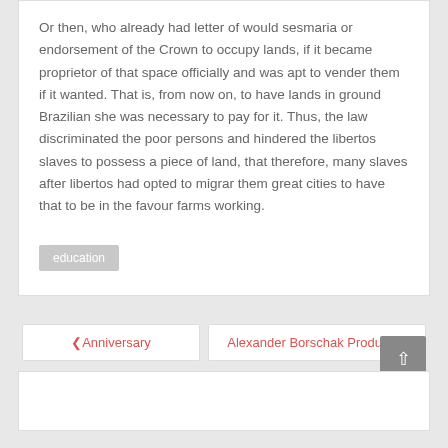Or then, who already had letter of would sesmaria or endorsement of the Crown to occupy lands, if it became proprietor of that space officially and was apt to vender them if it wanted. That is, from now on, to have lands in ground Brazilian she was necessary to pay for it. Thus, the law discriminated the poor persons and hindered the libertos slaves to possess a piece of land, that therefore, many slaves after libertos had opted to migrar them great cities to have that to be in the favour farms working.
education
‹ Anniversary   Alexander Borschak Product ›